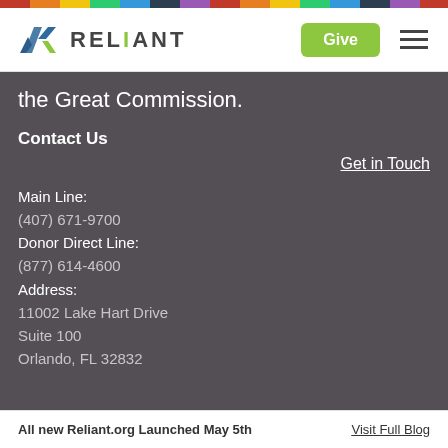[Figure (logo): Reliant organization logo with stylized R icon in blue and green, followed by RELIANT text with green I]
the Great Commission.
Contact Us
Get in Touch
Main Line:
(407) 671-9700
Donor Direct Line:
(877) 614-4600
Address:
11002 Lake Hart Drive
Suite 100
Orlando, FL 32832
All new Reliant.org Launched May 5th     Visit Full Blog